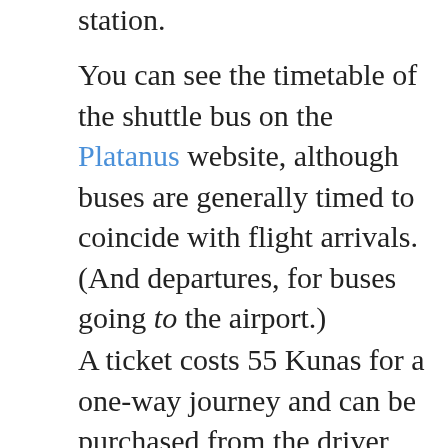station.
You can see the timetable of the shuttle bus on the Platanus website, although buses are generally timed to coincide with flight arrivals. (And departures, for buses going to the airport.)
A ticket costs 55 Kunas for a one-way journey and can be purchased from the driver once you board the bus. You can also buy tickets in advance on the Platanus website. Journey time is about 30-40 minutes.
Sightseeing Bus
Dubrovnik also has a sightseeing bus, the open-windowed cabrio bus, which offers